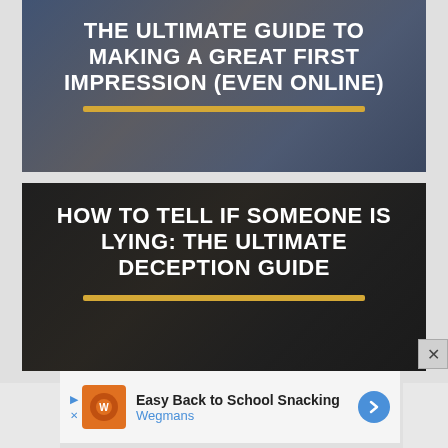[Figure (photo): Dark blue-tinted banner image of two people shaking hands with bold white uppercase text overlay: THE ULTIMATE GUIDE TO MAKING A GREAT FIRST IMPRESSION (EVEN ONLINE), with a gold horizontal bar beneath the text.]
[Figure (photo): Dark-toned banner image of a man with glasses making a gesture, with bold white uppercase text overlay: HOW TO TELL IF SOMEONE IS LYING: THE ULTIMATE DECEPTION GUIDE, with a gold horizontal bar beneath the text.]
[Figure (infographic): Advertisement banner: Easy Back to School Snacking – Wegmans, with orange icon, blue play/close controls, and blue arrow.]